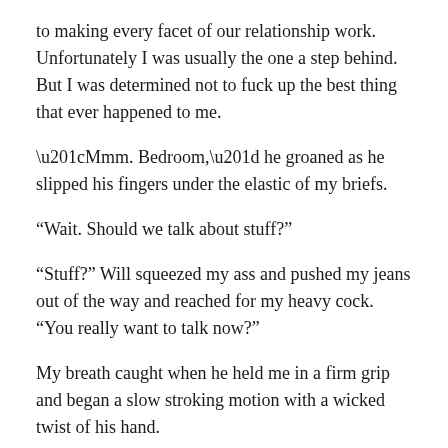to making every facet of our relationship work. Unfortunately I was usually the one a step behind. But I was determined not to fuck up the best thing that ever happened to me.
“Mmm. Bedroom,” he groaned as he slipped his fingers under the elastic of my briefs.
“Wait. Should we talk about stuff?”
“Stuff?” Will squeezed my ass and pushed my jeans out of the way and reached for my heavy cock. “You really want to talk now?”
My breath caught when he held me in a firm grip and began a slow stroking motion with a wicked twist of his hand.
“No,” I grunted, pulling at his belt. “I—I want to be inside you, baby, but-”